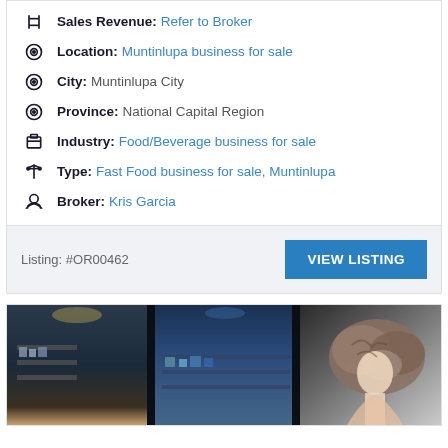Sales Revenue: Refer to Broker
Location: Muntinlupa business for sale
City: Muntinlupa City
Province: National Capital Region
Industry: Food/Beverage business for sale
Type: Fast Food business for sale, Muntinlupa
Broker: Kris Garcia
Listing: #OR00462
VIEW LISTING
[Figure (photo): Interior photo of a commercial space, possibly a salon or retail store, showing shelves with products, glass panels and a person with curly hair on the right side.]